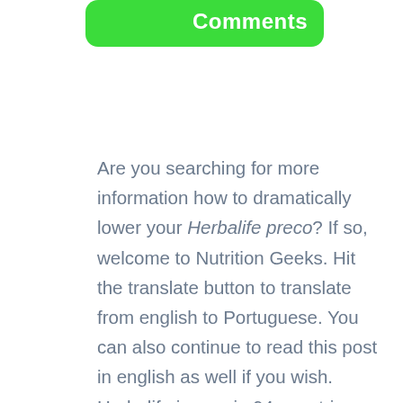[Figure (other): Green rounded button with white text reading 'Comments']
Are you searching for more information how to dramatically lower your Herbalife preco? If so, welcome to Nutrition Geeks. Hit the translate button to translate from english to Portuguese. You can also continue to read this post in english as well if you wish. Herbalife is now in 94 countries around the world including many latin speaking countries. You are choosing to join this incredible company at the right time. People all